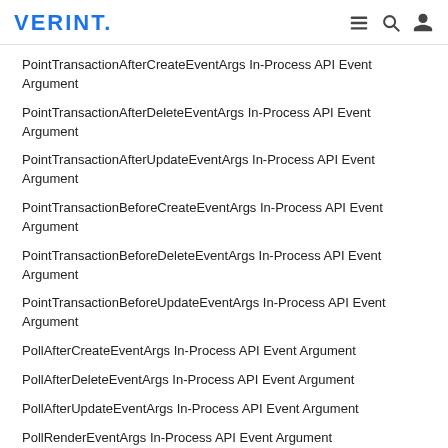VERINT.
PointTransactionAfterCreateEventArgs In-Process API Event Argument
PointTransactionAfterDeleteEventArgs In-Process API Event Argument
PointTransactionAfterUpdateEventArgs In-Process API Event Argument
PointTransactionBeforeCreateEventArgs In-Process API Event Argument
PointTransactionBeforeDeleteEventArgs In-Process API Event Argument
PointTransactionBeforeUpdateEventArgs In-Process API Event Argument
PollAfterCreateEventArgs In-Process API Event Argument
PollAfterDeleteEventArgs In-Process API Event Argument
PollAfterUpdateEventArgs In-Process API Event Argument
PollRenderEventArgs In-Process API Event Argument
PollVoteEventArgs In-Process API Event Argument
ProcessAfterCompleteEventArgs In-Process API Event Argument